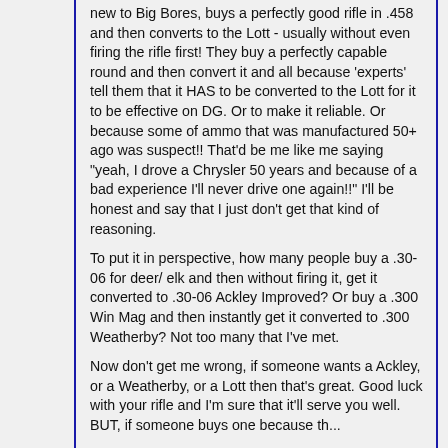new to Big Bores, buys a perfectly good rifle in .458 and then converts to the Lott - usually without even firing the rifle first! They buy a perfectly capable round and then convert it and all because 'experts' tell them that it HAS to be converted to the Lott for it to be effective on DG. Or to make it reliable. Or because some of ammo that was manufactured 50+ ago was suspect!! That'd be me like me saying "yeah, I drove a Chrysler 50 years and because of a bad experience I'll never drive one again!!" I'll be honest and say that I just don't get that kind of reasoning.
To put it in perspective, how many people buy a .30-06 for deer/ elk and then without firing it, get it converted to .30-06 Ackley Improved? Or buy a .300 Win Mag and then instantly get it converted to .300 Weatherby? Not too many that I've met.
Now don't get me wrong, if someone wants a Ackley, or a Weatherby, or a Lott then that's great. Good luck with your rifle and I'm sure that it'll serve you well. BUT, if someone buys one because they feel that they'd be better...